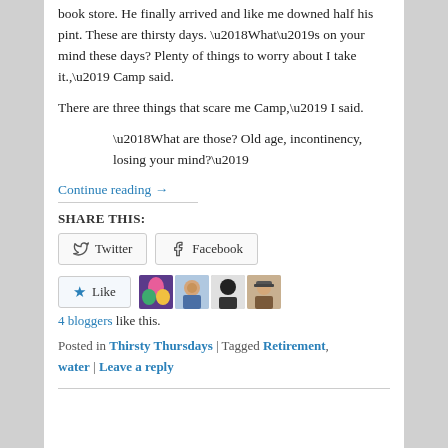book store. He finally arrived and like me downed half his pint. These are thirsty days. ‘What’s on your mind these days? Plenty of things to worry about I take it.,’ Camp said.
There are three things that scare me Camp,’ I said.
‘What are those? Old age, incontinency, losing your mind?’
Continue reading →
SHARE THIS:
Twitter  Facebook
★ Like  [4 blogger avatars]
4 bloggers like this.
Posted in Thirsty Thursdays | Tagged Retirement, water | Leave a reply